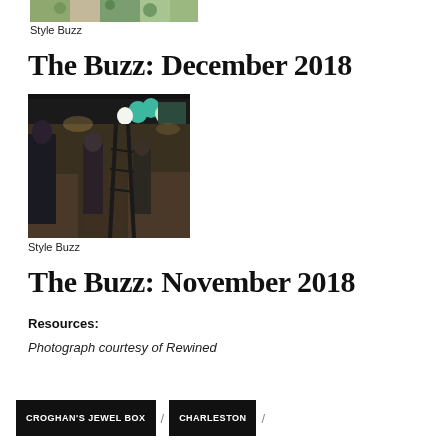[Figure (photo): Partial top of a photo showing a colorful mosaic or decorative pattern, cropped at top of page]
Style Buzz
The Buzz: December 2018
[Figure (photo): Indoor event scene with people browsing vendor tables, teal and white balloons visible overhead, dark clothing store setting]
Style Buzz
The Buzz: November 2018
Resources:
Photograph courtesy of Rewined
CROGHAN'S JEWEL BOX / CHARLESTON /